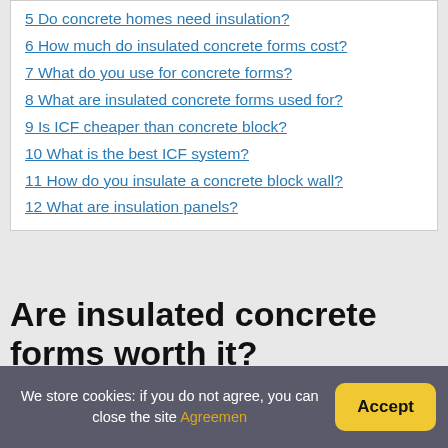5 Do concrete homes need insulation?
6 How much do insulated concrete forms cost?
7 What do you use for concrete forms?
8 What are insulated concrete forms used for?
9 Is ICF cheaper than concrete block?
10 What is the best ICF system?
11 How do you insulate a concrete block wall?
12 What are insulation panels?
Are insulated concrete forms worth it?
We store cookies: if you do not agree, you can close the site Agreemen